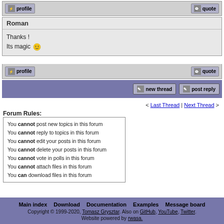[Figure (screenshot): Profile button (pixelated icon with lightning bolt and 'profile' text)]
[Figure (screenshot): Quote button (pixelated icon with speech bubble and 'quote' text)]
Roman
Thanks !
Its magic 😊
[Figure (screenshot): Profile button bottom row]
[Figure (screenshot): Quote button bottom row]
[Figure (screenshot): new thread button]
[Figure (screenshot): post reply button]
< Last Thread | Next Thread >
Forum Rules:
You cannot post new topics in this forum
You cannot reply to topics in this forum
You cannot edit your posts in this forum
You cannot delete your posts in this forum
You cannot vote in polls in this forum
You cannot attach files in this forum
You can download files in this forum
Main index   Download   Documentation   Examples   Message board
Copyright © 1999-2020, Tomasz Grysztar. Also on GitHub, YouTube, Twitter.
Website powered by rwasa.